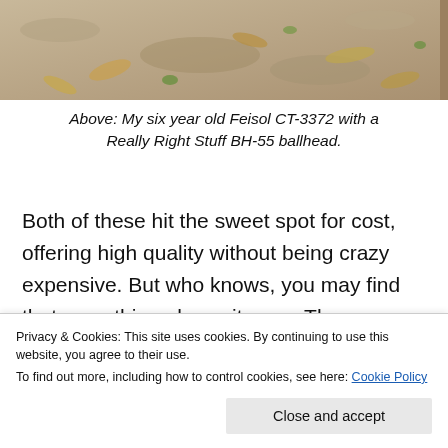[Figure (photo): Close-up of sandy/gravelly ground with dried leaves and small green plant fragments, likely outdoor terrain]
Above: My six year old Feisol CT-3372 with a Really Right Stuff BH-55 ballhead.
Both of these hit the sweet spot for cost, offering high quality without being crazy expensive. But who knows, you may find that something else suits you. There are so many new designs since I purchased this, including Peak Design and such, that might offer up
Privacy & Cookies: This site uses cookies. By continuing to use this website, you agree to their use.
To find out more, including how to control cookies, see here: Cookie Policy